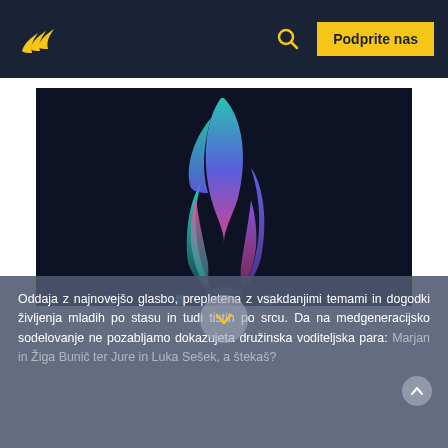[Figure (logo): Website header with dark navy background, yellow stylized wing/stream logo on left, yellow search icon and yellow 'Podprite nas' button on right]
[Figure (illustration): Dark background with a colorful 3D flame/swirl logo made of teal, purple, blue and pink gradient ribbons in the center, with small social media icons at the bottom edge]
Oddaja z najnovejšo glasbo, prepletena z vsakdanjimi temami in dogodki življenja mladih po stasu in tudi tistih po srcu. Da na medgeneracijsko sodelovanje ne pozabljamo dokazujeta družinska voditeljska para: Marjan in Žiga Bunič ter Jure in Luka Sešek, a štekaš?